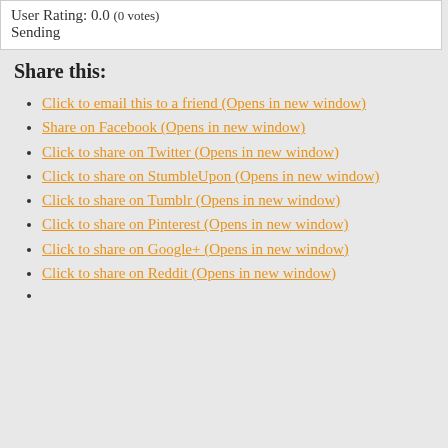User Rating: 0.0 (0 votes)
Sending
Share this:
Click to email this to a friend (Opens in new window)
Share on Facebook (Opens in new window)
Click to share on Twitter (Opens in new window)
Click to share on StumbleUpon (Opens in new window)
Click to share on Tumblr (Opens in new window)
Click to share on Pinterest (Opens in new window)
Click to share on Google+ (Opens in new window)
Click to share on Reddit (Opens in new window)